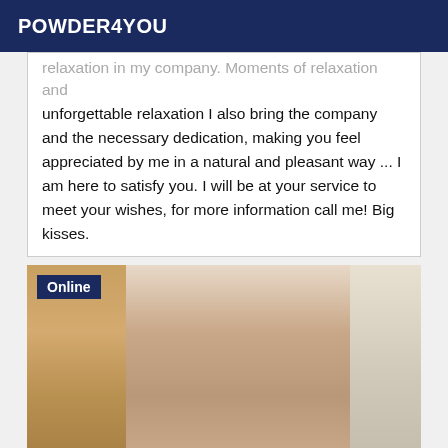POWDER4YOU
relaxation in my company. Moments of relaxation and unforgettable relaxation I also bring the company and the necessary dedication, making you feel appreciated by me in a natural and pleasant way ... I am here to satisfy you. I will be at your service to meet your wishes, for more information call me! Big kisses.
[Figure (photo): A woman with long dark hair wearing a white lace lingerie outfit, posed indoors with a movie poster visible in the background. An 'Online' badge appears in the top left corner.]